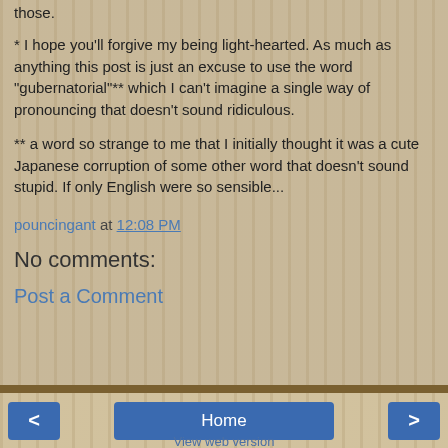those.
* I hope you'll forgive my being light-hearted. As much as anything this post is just an excuse to use the word "gubernatorial"** which I can't imagine a single way of pronouncing that doesn't sound ridiculous.
** a word so strange to me that I initially thought it was a cute Japanese corruption of some other word that doesn't sound stupid. If only English were so sensible...
pouncingant at 12:08 PM
No comments:
Post a Comment
< Home > View web version